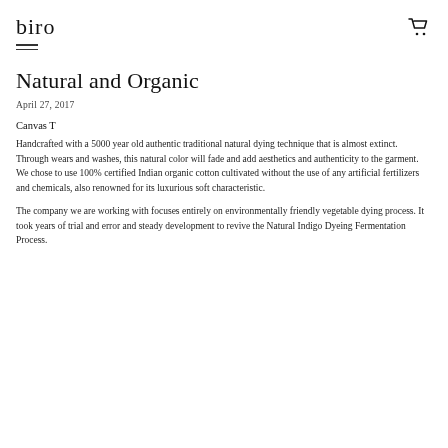biro
Natural and Organic
April 27, 2017
Canvas T
Handcrafted with a 5000 year old authentic traditional natural dying technique that is almost extinct. Through wears and washes, this natural color will fade and add aesthetics and authenticity to the garment. We chose to use 100% certified Indian organic cotton cultivated without the use of any artificial fertilizers and chemicals, also renowned for its luxurious soft characteristic.
The company we are working with focuses entirely on environmentally friendly vegetable dying process. It took years of trial and error and steady development to revive the Natural Indigo Dyeing Fermentation Process.